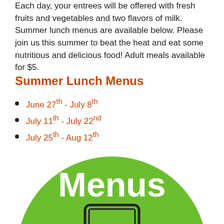Each day, your entrees will be offered with fresh fruits and vegetables and two flavors of milk. Summer lunch menus are available below. Please join us this summer to beat the heat and eat some nutritious and delicious food! Adult meals available for $5.
Summer Lunch Menus
June 27th - July 8th
July 11th - July 22nd
July 25th - Aug 12th
[Figure (illustration): Large green circle with white bold text 'Menus' and a small icon of a tablet/device at the bottom, partially cropped at the bottom of the page.]